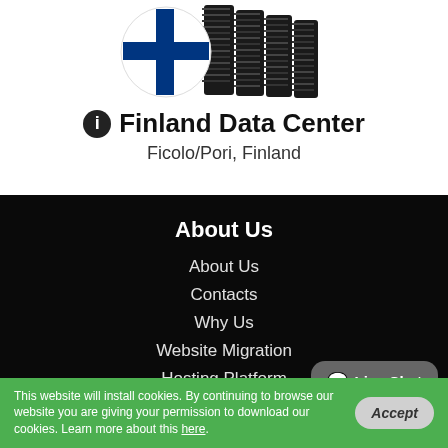[Figure (illustration): Finnish flag overlaid on server rack equipment — decorative illustration for Finland Data Center section]
Finland Data Center
Ficolo/Pori, Finland
About Us
About Us
Contacts
Why Us
Website Migration
Hosting Platform
Service Guarantees
Videos
[Figure (other): Live Chat speech bubble button with chat icon]
This website will install cookies. By continuing to browse our website you are giving your permission to download our cookies. Learn more about this here.